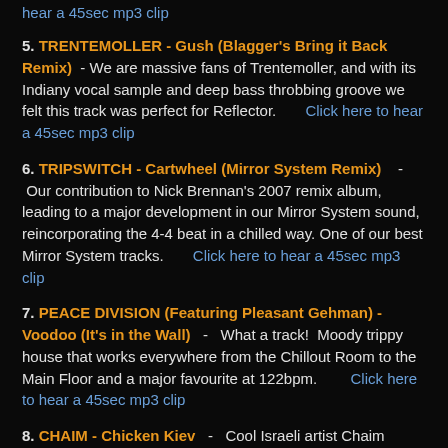hear a 45sec mp3 clip
5. TRENTEMOLLER - Gush (Blagger's Bring it Back Remix) - We are massive fans of Trentemoller, and with its Indiany vocal sample and deep bass throbbing groove we felt this track was perfect for Reflector. Click here to hear a 45sec mp3 clip
6. TRIPSWITCH - Cartwheel (Mirror System Remix) - Our contribution to Nick Brennan's 2007 remix album, leading to a major development in our Mirror System sound, reincorporating the 4-4 beat in a chilled way. One of our best Mirror System tracks. Click here to hear a 45sec mp3 clip
7. PEACE DIVISION (Featuring Pleasant Gehman) - Voodoo (It's in the Wall) - What a track! Moody trippy house that works everywhere from the Chillout Room to the Main Floor and a major favourite at 122bpm. Click here to hear a 45sec mp3 clip
8. CHAIM - Chicken Kiev - Cool Israeli artist Chaim delivers quirky tech-house with a wee bit of humour - tried and tested in our live DJ sets. Click here to hear a 45sec mp3 clip
9. MATTHIAS TANZMANN - Swim - A beautiful groove from Leipzig techo/house hero Matthias Tanzmann and our longest mixout.